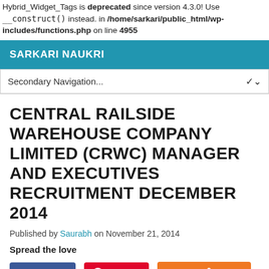Hybrid_Widget_Tags is deprecated since version 4.3.0! Use __construct() instead. in /home/sarkari/public_html/wp-includes/functions.php on line 4955
SARKARI NAUKRI
Secondary Navigation...
CENTRAL RAILSIDE WAREHOUSE COMPANY LIMITED (CRWC) MANAGER AND EXECUTIVES RECRUITMENT DECEMBER 2014
Published by Saurabh on November 21, 2014
Spread the love